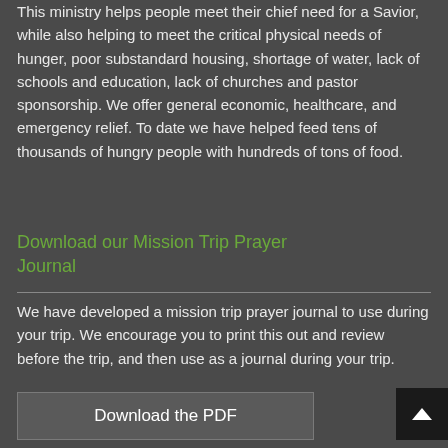This ministry helps people meet their chief need for a Savior, while also helping to meet the critical physical needs of hunger, poor substandard housing, shortage of water, lack of schools and education, lack of churches and pastor sponsorship. We offer general economic, healthcare, and emergency relief. To date we have helped feed tens of thousands of hungry people with hundreds of tons of food.
Download our Mission Trip Prayer Journal
We have developed a mission trip prayer journal to use during your trip. We encourage you to print this out and review before the trip, and then use as a journal during your trip.
Download the PDF